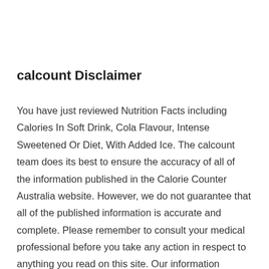calcount Disclaimer
You have just reviewed Nutrition Facts including Calories In Soft Drink, Cola Flavour, Intense Sweetened Or Diet, With Added Ice. The calcount team does its best to ensure the accuracy of all of the information published in the Calorie Counter Australia website. However, we do not guarantee that all of the published information is accurate and complete. Please remember to consult your medical professional before you take any action in respect to anything you read on this site. Our information includes copyrights, trademarks, and other intellectual property such as brand names and